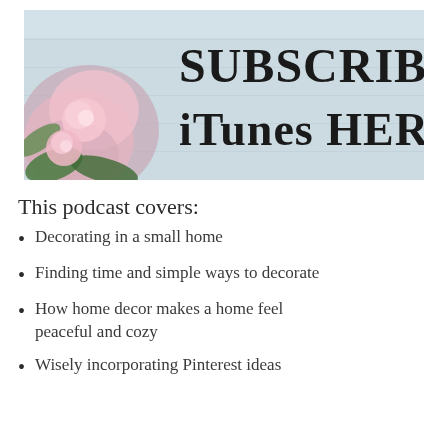[Figure (illustration): Banner image with pink roses on the left and a rustic light blue wooden background, with large serif text reading 'Subscribe to iTunes HERE']
This podcast covers:
Decorating in a small home
Finding time and simple ways to decorate
How home decor makes a home feel peaceful and cozy
Wisely incorporating Pinterest ideas